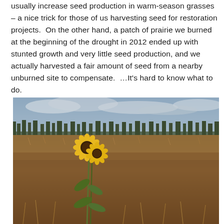usually increase seed production in warm-season grasses – a nice trick for those of us harvesting seed for restoration projects.  On the other hand, a patch of prairie we burned at the beginning of the drought in 2012 ended up with stunted growth and very little seed production, and we actually harvested a fair amount of seed from a nearby unburned site to compensate.  …It's hard to know what to do.
[Figure (photo): A single sunflower plant with yellow blooms stands in a flat, dry prairie field with brown dried grasses, photographed under a cloudy sky with a treeline on the horizon.]